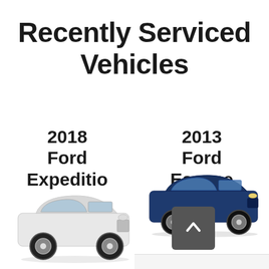Recently Serviced Vehicles
2018
Ford
Expeditio
n
[Figure (photo): White 2018 Ford Expedition SUV, side-front view]
2013
Ford
Escape
[Figure (photo): Dark blue 2013 Ford Escape SUV, side-front view]